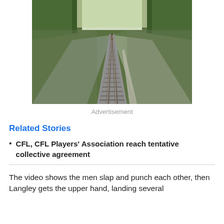[Figure (photo): Aerial perspective photo of railway tracks stretching into the distance, flanked by green trees and grassy embankments on both sides, motion blur effect visible.]
Advertisement
Related Stories
CFL, CFL Players' Association reach tentative collective agreement
The video shows the men slap and punch each other, then Langley gets the upper hand, landing several